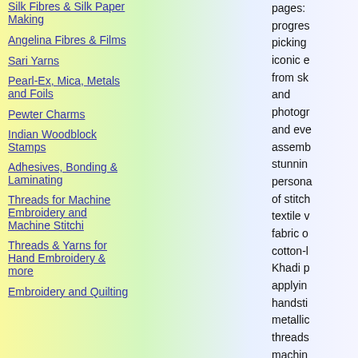Silk Fibres & Silk Paper Making
Angelina Fibres & Films
Sari Yarns
Pearl-Ex, Mica, Metals and Foils
Pewter Charms
Indian Woodblock Stamps
Adhesives, Bonding & Laminating
Threads for Machine Embroidery and Machine Stitchi
Threads & Yarns for Hand Embroidery & more
Embroidery and Quilting
pages: progress picking iconic e from sk and photogr and eve assemb stunnin persona of stitch textile v fabric o cotton-l Khadi p applyin handsti metallic threads machin in whim and be: pattern: embelli with na beads o objects This pr light